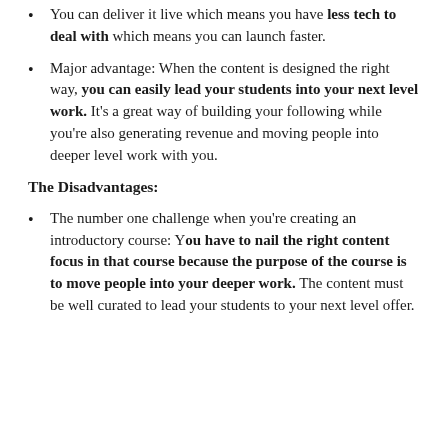You can deliver it live which means you have less tech to deal with which means you can launch faster.
Major advantage: When the content is designed the right way, you can easily lead your students into your next level work. It's a great way of building your following while you're also generating revenue and moving people into deeper level work with you.
The Disadvantages:
The number one challenge when you're creating an introductory course: You have to nail the right content focus in that course because the purpose of the course is to move people into your deeper work. The content must be well curated to lead your students to your next level offer.